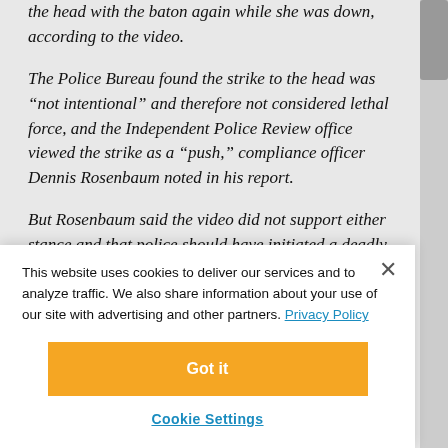the head with the baton again while she was down, according to the video.
The Police Bureau found the strike to the head was “not intentional” and therefore not considered lethal force, and the Independent Police Review office viewed the strike as a “push,” compliance officer Dennis Rosenbaum noted in his report.
But Rosenbaum said the video did not support either stance and that police should have initiated a deadly force investigation. Police started an inquiry as a result — though not for several weeks, a federal Justice Department report noted.
This website uses cookies to deliver our services and to analyze traffic. We also share information about your use of our site with advertising and other partners. Privacy Policy
Got it
Cookie Settings